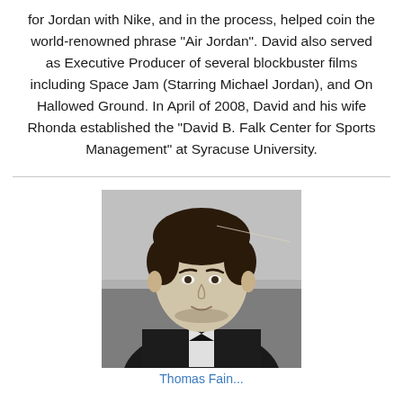for Jordan with Nike, and in the process, helped coin the world-renowned phrase "Air Jordan". David also served as Executive Producer of several blockbuster films including Space Jam (Starring Michael Jordan), and On Hallowed Ground. In April of 2008, David and his wife Rhonda established the "David B. Falk Center for Sports Management" at Syracuse University.
[Figure (photo): Black and white yearbook-style portrait photo of a young man in a tuxedo with bow tie, with a scratch/line visible across the upper portion of the image.]
Thomas Fain...